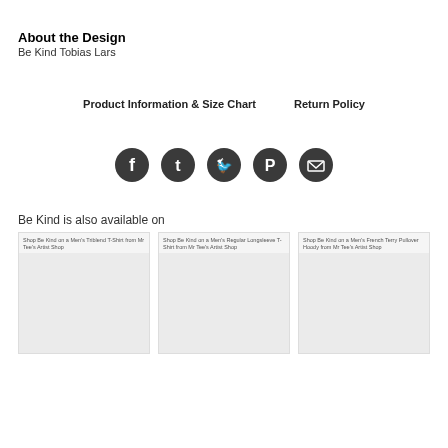About the Design
Be Kind Tobias Lars
Product Information & Size Chart     Return Policy
[Figure (other): Five social media sharing icons (Facebook, Tumblr, Twitter, Pinterest, Email) as dark circular buttons in a row.]
Be Kind is also available on
[Figure (other): Three product card thumbnails. First: Shop Be Kind on a Men's Triblend T-Shirt from Mr Tee's Artist Shop. Second: Shop Be Kind on a Men's Regular Longsleeve T-Shirt from Mr Tee's Artist Shop. Third: Shop Be Kind on a Men's French Terry Pullover Hoody from Mr Tee's Artist Shop.]